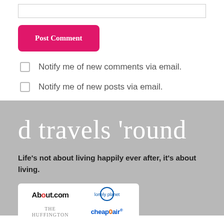[Figure (other): Empty text input box at top of page]
[Figure (other): Pink/magenta 'Post Comment' button]
Notify me of new comments via email.
Notify me of new posts via email.
d travels 'round
Life's not about living happily ever after, it's about living.
[Figure (logo): Logos grid: About.com, lonely planet, THE HUFFINGTON, cheapOair]